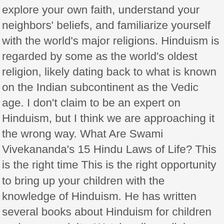explore your own faith, understand your neighbors' beliefs, and familiarize yourself with the world's major religions. Hinduism is regarded by some as the world's oldest religion, likely dating back to what is known on the Indian subcontinent as the Vedic age. I don't claim to be an expert on Hinduism, but I think we are approaching it the wrong way. What Are Swami Vivekananda's 15 Hindu Laws of Life? This is the right time This is the right opportunity to bring up your children with the knowledge of Hinduism. He has written several books about Hinduism for children and young adults. Watch online religion video lessons and learn about the Vedas, the Bhagavad Gita, Hindu castes, and more. There are good people who want to do good Karma. Summary of the Epic Ramayana by Stephen Knapp. Duration: 04:18 Marriage. Hinduism vs Buddhism, comparison. … The Cycle of Birth and Rebirth. The engaging animations and graphics in these lessons bring key Hinduism concepts to life. Learn more. Hinduism. What Is the Universal Appeal of the Ramayana? Understanding the Symbolism of Hindu Deities. Everything You Need to Know About Bengali Wedding...